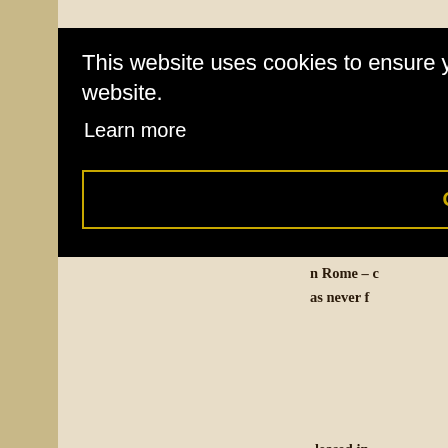[Figure (screenshot): Cookie consent banner overlay with black background showing 'This website uses cookies to ensure you get the best experience on our website.' with a 'Learn more' link and a 'Got it!' button with yellow/gold border.]
who was w n Rome – c as never f
leased in
time even The Robe had not been released to the pub
Jack Cardiff says that filming in Cinemascope gave h which was the fact that it could not be in focus at any that any intimate close-ups were either impossible o close up tests though on Bruce Cabot which meant in nearly fried the actor – but it did produce results.
On top of this the very wide screen meant that even i had to fill either side of the screen with something.